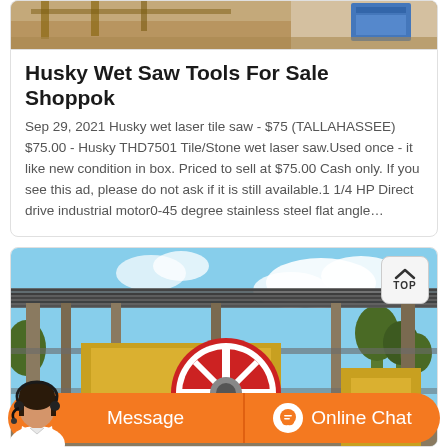[Figure (photo): Top cropped portion of a product image showing outdoor equipment on sandy ground with blue container in background]
Husky Wet Saw Tools For Sale Shoppok
Sep 29, 2021 Husky wet laser tile saw - $75 (TALLAHASSEE) $75.00 - Husky THD7501 Tile/Stone wet laser saw.Used once - it like new condition in box. Priced to sell at $75.00 Cash only. If you see this ad, please do not ask if it is still available.1 1/4 HP Direct drive industrial motor0-45 degree stainless steel flat angle…
[Figure (photo): Industrial crusher machine under a steel roof structure with a large circular flywheel, outdoor setting with trees and cloudy sky in background]
[Figure (photo): Customer service representative avatar at bottom left corner]
Message
Online Chat